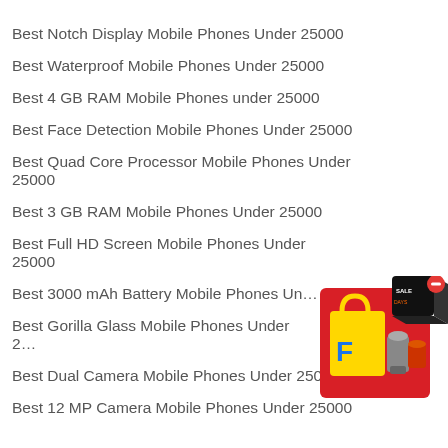Best Notch Display Mobile Phones Under 25000
Best Waterproof Mobile Phones Under 25000
Best 4 GB RAM Mobile Phones under 25000
Best Face Detection Mobile Phones Under 25000
Best Quad Core Processor Mobile Phones Under 25000
Best 3 GB RAM Mobile Phones Under 25000
Best Full HD Screen Mobile Phones Under 25000
Best 3000 mAh Battery Mobile Phones Under 25000
Best Gorilla Glass Mobile Phones Under 25000
Best Dual Camera Mobile Phones Under 25000
Best 12 MP Camera Mobile Phones Under 25000
[Figure (illustration): Flipkart advertisement box showing shopping bag with Flipkart logo, kitchen appliances, a 3D black box with text and a red minus/close button]